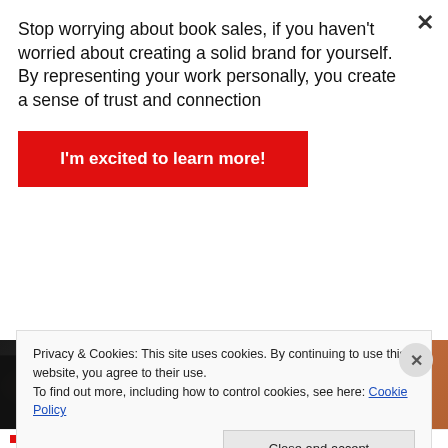Stop worrying about book sales, if you haven't worried about creating a solid brand for yourself. By representing your work personally, you create a sense of trust and connection
I'm excited to learn more!
[Figure (photo): Silhouette of a person in dark clothing against a warm blurred orange and grey background]
Privacy & Cookies: This site uses cookies. By continuing to use this website, you agree to their use.
To find out more, including how to control cookies, see here: Cookie Policy
Close and accept